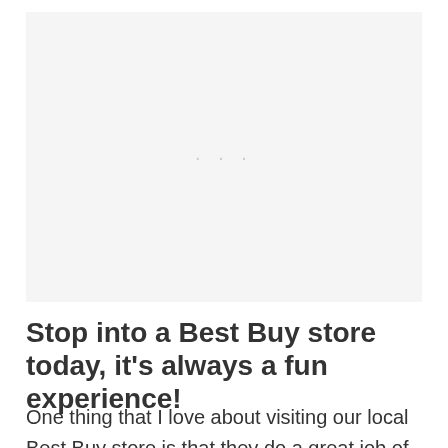[Figure (other): Placeholder image area with light gray background and faint dots]
Stop into a Best Buy store today, it's always a fun experience!
One thing that I love about visiting our local Best Buy store is that they do a great job of